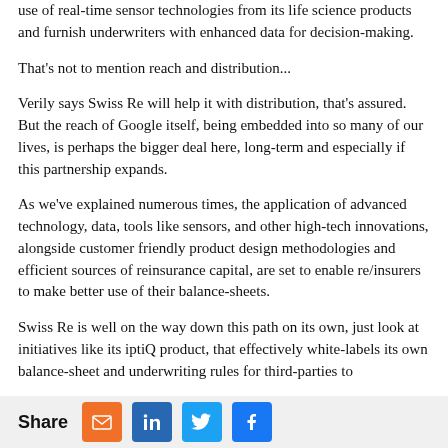use of real-time sensor technologies from its life science products and furnish underwriters with enhanced data for decision-making.
That's not to mention reach and distribution...
Verily says Swiss Re will help it with distribution, that's assured. But the reach of Google itself, being embedded into so many of our lives, is perhaps the bigger deal here, long-term and especially if this partnership expands.
As we've explained numerous times, the application of advanced technology, data, tools like sensors, and other high-tech innovations, alongside customer friendly product design methodologies and efficient sources of reinsurance capital, are set to enable re/insurers to make better use of their balance-sheets.
Swiss Re is well on the way down this path on its own, just look at initiatives like its iptiQ product, that effectively white-labels its own balance-sheet and underwriting rules for third-parties to
Share